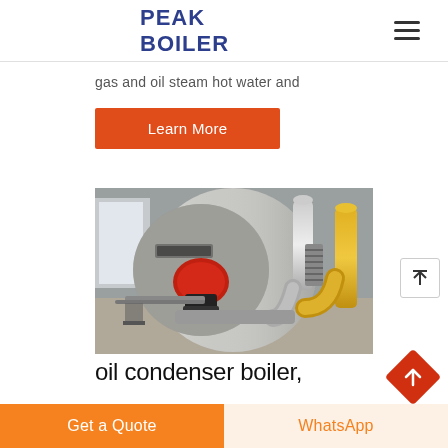PEAK BOILER
gas and oil steam hot water and
Learn More
[Figure (photo): Industrial gas and oil steam boiler in a factory setting, showing a large cylindrical boiler with red burner head, metallic ducting, and yellow gas pipes]
oil condenser boiler,
Get a Quote
WhatsApp